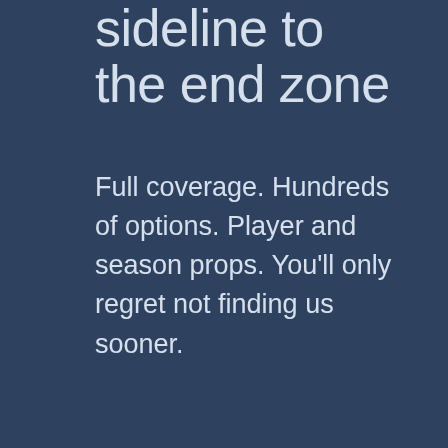sideline to the end zone
Full coverage. Hundreds of options. Player and season props. You'll only regret not finding us sooner.